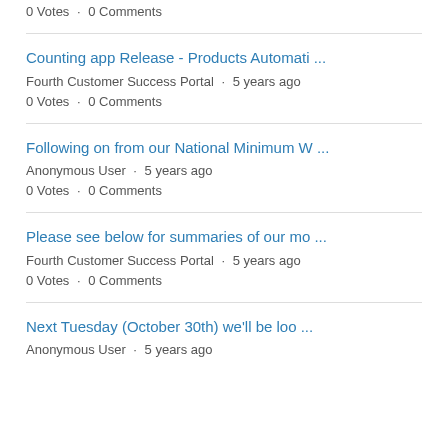0 Votes · 0 Comments
Counting app Release - Products Automati ...
Fourth Customer Success Portal · 5 years ago
0 Votes · 0 Comments
Following on from our National Minimum W ...
Anonymous User · 5 years ago
0 Votes · 0 Comments
Please see below for summaries of our mo ...
Fourth Customer Success Portal · 5 years ago
0 Votes · 0 Comments
Next Tuesday (October 30th) we'll be loo ...
Anonymous User · 5 years ago